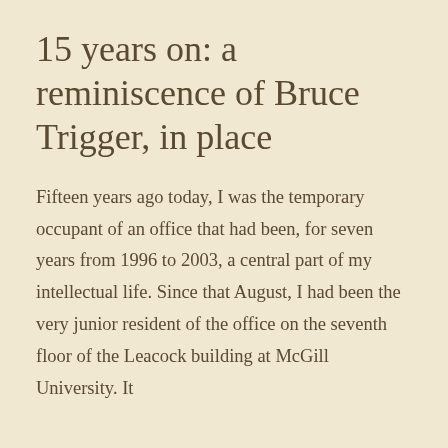15 years on: a reminiscence of Bruce Trigger, in place
Fifteen years ago today, I was the temporary occupant of an office that had been, for seven years from 1996 to 2003, a central part of my intellectual life. Since that August, I had been the very junior resident of the office on the seventh floor of the Leacock building at McGill University. It